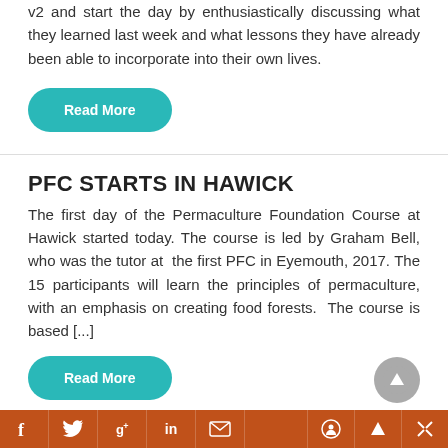v2 and start the day by enthusiastically discussing what they learned last week and what lessons they have already been able to incorporate into their own lives.
Read More
PFC STARTS IN HAWICK
The first day of the Permaculture Foundation Course at Hawick started today. The course is led by Graham Bell, who was the tutor at the first PFC in Eyemouth, 2017. The 15 participants will learn the principles of permaculture, with an emphasis on creating food forests. The course is based [...]
Read More
Social share bar with icons: Facebook, Twitter, Google+, LinkedIn, Email, and navigation icons